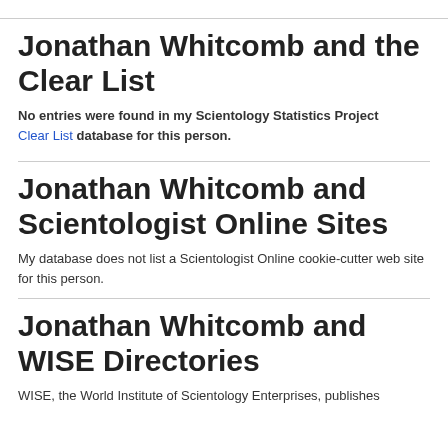Jonathan Whitcomb and the Clear List
No entries were found in my Scientology Statistics Project Clear List database for this person.
Jonathan Whitcomb and Scientologist Online Sites
My database does not list a Scientologist Online cookie-cutter web site for this person.
Jonathan Whitcomb and WISE Directories
WISE, the World Institute of Scientology Enterprises, publishes